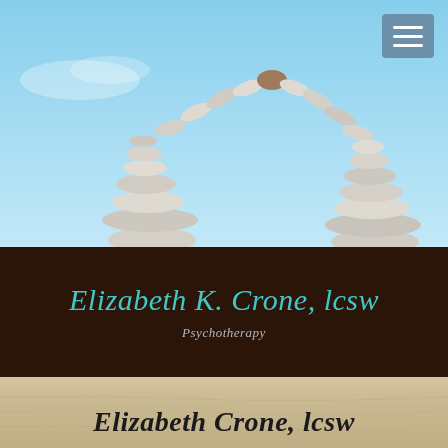[Figure (photo): Stacked balancing stones arranged in an arch shape against a clear blue sky background]
Elizabeth K. Crone, lcsw
Psychotherapy
[Figure (photo): Sandy beach surface in beige/tan tones]
Elizabeth Crone, lcsw